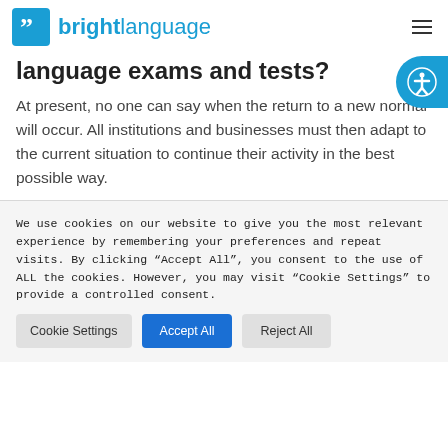bright language
language exams and tests?
At present, no one can say when the return to a new normal will occur. All institutions and businesses must then adapt to the current situation to continue their activity in the best possible way.
We use cookies on our website to give you the most relevant experience by remembering your preferences and repeat visits. By clicking “Accept All”, you consent to the use of ALL the cookies. However, you may visit “Cookie Settings” to provide a controlled consent.